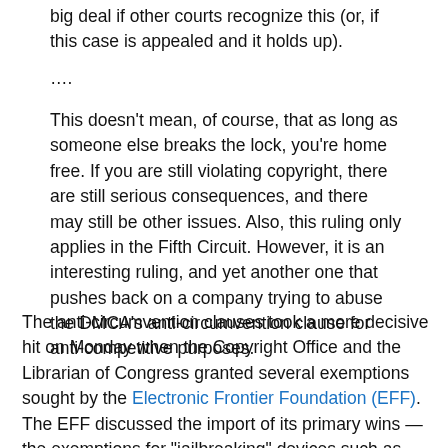big deal if other courts recognize this (or, if this case is appealed and it holds up).
....
This doesn't mean, of course, that as long as someone else breaks the lock, you're home free. If you are still violating copyright, there are still serious consequences, and there may still be other issues. Also, this ruling only applies in the Fifth Circuit. However, it is an interesting ruling, and yet another one that pushes back on a company trying to abuse the DMCA's anti-circumvention clause for anti-competitive purposes.
The anti-circumvention clauses took a more decisive hit on Monday when the Copyright Office and the Librarian of Congress granted several exemptions sought by the Electronic Frontier Foundation (EFF). The EFF discussed the import of its primary wins — the exemptions for "jailbreaking" devices such as the Apple iPhone to enable the installation of unapproved applications and functionality